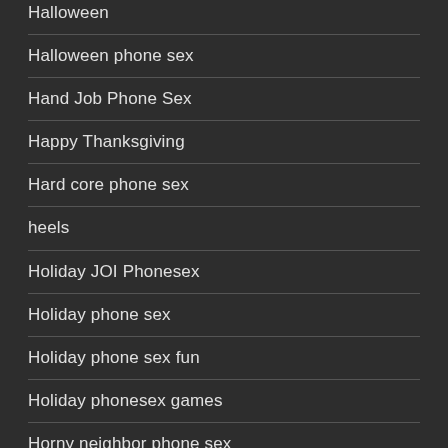Halloween
Halloween phone sex
Hand Job Phone Sex
Happy Thanksgiving
Hard core phone sex
heels
Holiday JOI Phonesex
Holiday phone sex
Holiday phone sex fun
Holiday phonesex games
Horny neighbor phone sex